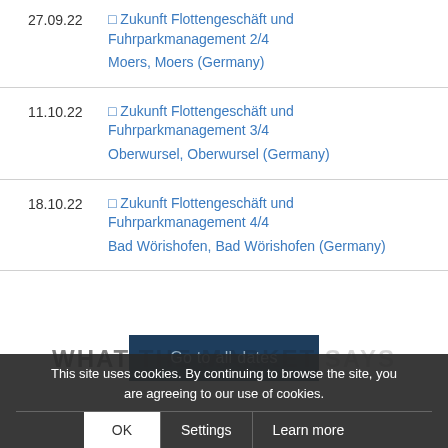27.09.22 — □ Zukunft Flottengeschäft und Fuhrparkmanagement 2/4, Moers, Moers (Germany)
11.10.22 — □ Zukunft Flottengeschäft und Fuhrparkmanagement 3/4, Oberwursel, Oberwursel (Germany)
18.10.22 — □ Zukunft Flottengeschäft und Fuhrparkmanagement 4/4, Bad Wörishofen, Bad Wörishofen (Germany)
Go to all dates
WHAT THE MARKET SAYS
This site uses cookies. By continuing to browse the site, you are agreeing to our use of cookies.
OK    Settings    Learn more